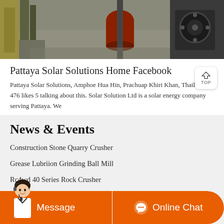[Figure (photo): Industrial machinery photo showing stone crusher or mill equipment in a factory/quarry setting, with metal frames and heavy machinery visible]
Pattaya Solar Solutions Home Facebook
Pattaya Solar Solutions, Amphoe Hua Hin, Prachuap Khiri Khan, Thailand. 476 likes 5 talking about this. Solar Solution Ltd is a solar energy company serving Pattaya. We
News & Events
Construction Stone Quarry Crusher
Grease Lubriion Grinding Ball Mill
Rc4wd 40 Series Rock Crusher